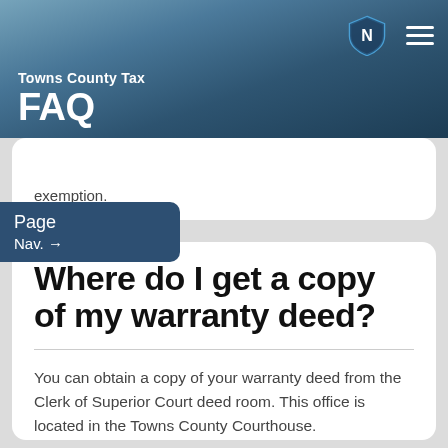Towns County Tax FAQ
exemption.
Where do I get a copy of my warranty deed?
You can obtain a copy of your warranty deed from the Clerk of Superior Court deed room. This office is located in the Towns County Courthouse.